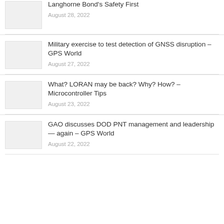Langhorne Bond's Safety First – August 28, 2022
Military exercise to test detection of GNSS disruption – GPS World – August 27, 2022
What? LORAN may be back? Why? How? – Microcontroller Tips – August 23, 2022
GAO discusses DOD PNT management and leadership — again – GPS World – August 22, 2022